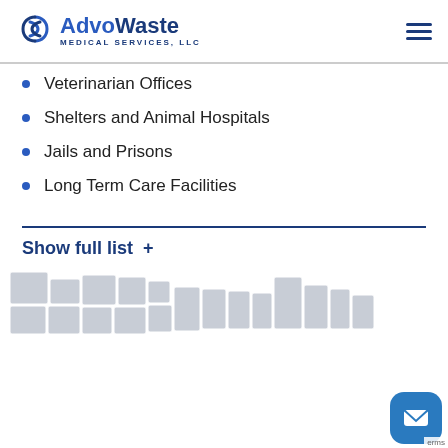AdvoWaste Medical Services, LLC
Veterinarian Offices
Shelters and Animal Hospitals
Jails and Prisons
Long Term Care Facilities
Show full list +
[Figure (map): Partial view of a US map shown at the bottom of the page with gray state outlines.]